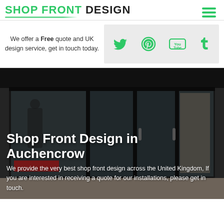SHOP FRONT DESIGN
We offer a Free quote and UK design service, get in touch today.
[Figure (other): Social media icons: Twitter, Pinterest, YouTube, Tumblr in green on grey background]
Shop Front Design in Auchencrow
We provide the very best shop front design across the United Kingdom, If you are interested in receiving a quote for our installations, please get in touch.
[Figure (photo): Photo of a shop front with large glass windows and sliding doors, mannequins visible inside displaying clothing]